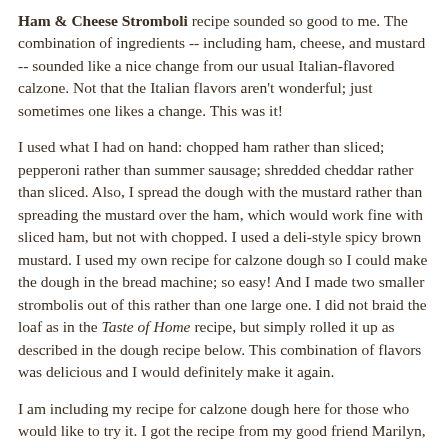Ham & Cheese Stromboli recipe sounded so good to me. The combination of ingredients -- including ham, cheese, and mustard -- sounded like a nice change from our usual Italian-flavored calzone. Not that the Italian flavors aren't wonderful; just sometimes one likes a change. This was it!
I used what I had on hand: chopped ham rather than sliced; pepperoni rather than summer sausage; shredded cheddar rather than sliced. Also, I spread the dough with the mustard rather than spreading the mustard over the ham, which would work fine with sliced ham, but not with chopped. I used a deli-style spicy brown mustard. I used my own recipe for calzone dough so I could make the dough in the bread machine; so easy! And I made two smaller strombolis out of this rather than one large one. I did not braid the loaf as in the Taste of Home recipe, but simply rolled it up as described in the dough recipe below. This combination of flavors was delicious and I would definitely make it again.
I am including my recipe for calzone dough here for those who would like to try it. I got the recipe from my good friend Marilyn, and it's a great one.